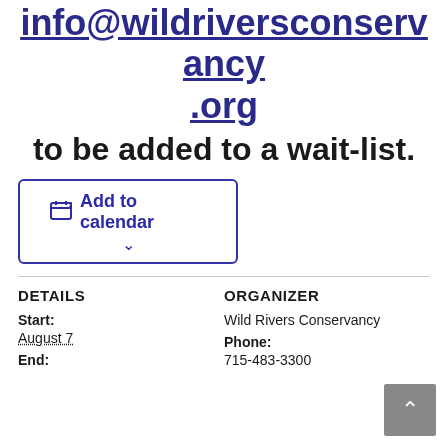Please contact us at info@wildriversconservancy.org to be added to a wait-list.
Add to calendar
DETAILS
ORGANIZER
Start:
August 7
End:
Wild Rivers Conservancy
Phone:
715-483-3300